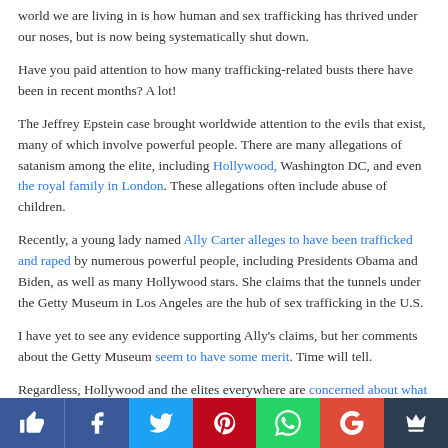world we are living in is how human and sex trafficking has thrived under our noses, but is now being systematically shut down.

Have you paid attention to how many trafficking-related busts there have been in recent months? A lot!

The Jeffrey Epstein case brought worldwide attention to the evils that exist, many of which involve powerful people. There are many allegations of satanism among the elite, including Hollywood, Washington DC, and even the royal family in London. These allegations often include abuse of children.

Recently, a young lady named Ally Carter alleges to have been trafficked and raped by numerous powerful people, including Presidents Obama and Biden, as well as many Hollywood stars. She claims that the tunnels under the Getty Museum in Los Angeles are the hub of sex trafficking in the U.S.

I have yet to see any evidence supporting Ally's claims, but her comments about the Getty Museum seem to have some merit. Time will tell.

Regardless, Hollywood and the elites everywhere are concerned about what Ghislaine Maxwell will reveal in her upcoming trial. It seems that justice is coming for the
[Figure (infographic): Social media sharing bar with like, Facebook, Twitter, Pinterest, WhatsApp, Google+, and crown icon buttons]